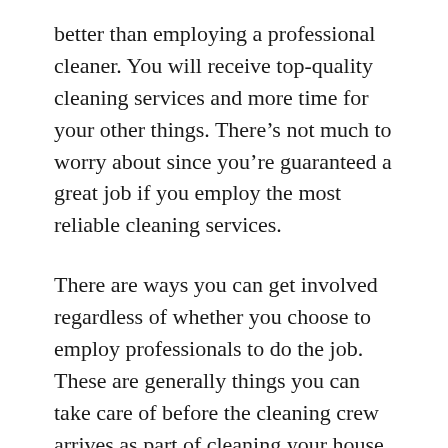better than employing a professional cleaner. You will receive top-quality cleaning services and more time for your other things. There’s not much to worry about since you’re guaranteed a great job if you employ the most reliable cleaning services.
There are ways you can get involved regardless of whether you choose to employ professionals to do the job. These are generally things you can take care of before the cleaning crew arrives as part of cleaning your house and other areas that will be cleaned.
Just read this article and you will know details on how to make your home clean prior to hiring professional cleaning services.